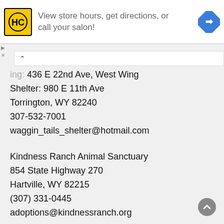[Figure (infographic): Advertisement banner with yellow HC logo, text 'View store hours, get directions, or call your salon!' and a blue diamond-shaped directional arrow icon on the right]
ing: 436 E 22nd Ave, West Wing
Shelter: 980 E 11th Ave
Torrington, WY 82240
307-532-7001
waggin_tails_shelter@hotmail.com
Kindness Ranch Animal Sanctuary
854 State Highway 270
Hartville, WY 82215
(307) 331-0445
adoptions@kindnessranch.org